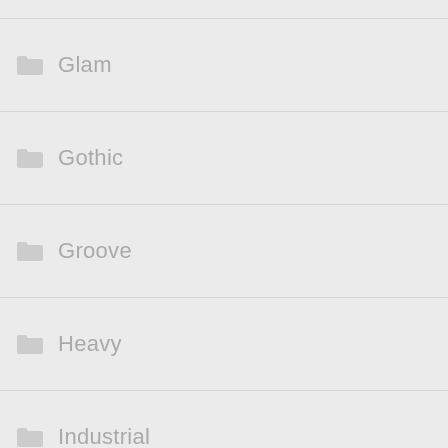Glam
Gothic
Groove
Heavy
Industrial
Modern
Pagan
Post
Power
Progressive